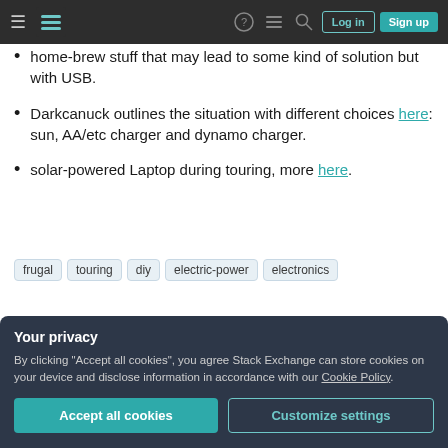Stack Exchange navigation bar with hamburger menu, logo, help, chat, search icons, Log in and Sign up buttons
home-brew stuff that may lead to some kind of solution but with USB.
Darkcanuck outlines the situation with different choices here: sun, AA/etc charger and dynamo charger.
solar-powered Laptop during touring, more here.
Tags: frugal, touring, diy, electric-power, electronics
Your privacy - By clicking "Accept all cookies", you agree Stack Exchange can store cookies on your device and disclose information in accordance with our Cookie Policy.